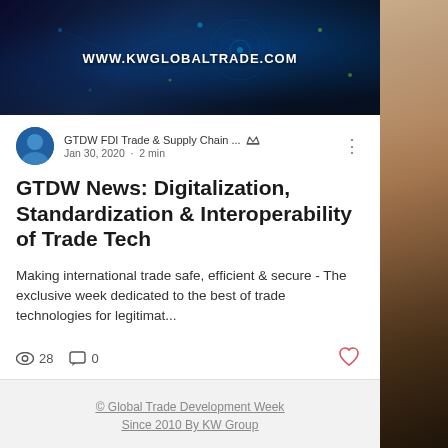[Figure (photo): Dark tech/digital network banner with text WWW.KWGLOBALTRADE.COM]
WWW.KWGLOBALTRADE.COM
GTDW FDI Trade & Supply Chain ... Jan 30, 2020 · 2 min
GTDW News: Digitalization, Standardization & Interoperability of Trade Tech
Making international trade safe, efficient & secure - The exclusive week dedicated to the best of trade technologies for legitimat...
28   0
© Global Trade Development Week Since 2010 By KW Group